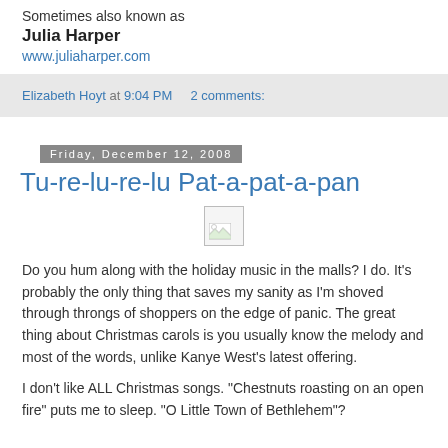Sometimes also known as
Julia Harper
www.juliaharper.com
Elizabeth Hoyt at 9:04 PM   2 comments:
Friday, December 12, 2008
Tu-re-lu-re-lu Pat-a-pat-a-pan
[Figure (other): Broken image placeholder icon]
Do you hum along with the holiday music in the malls? I do. It's probably the only thing that saves my sanity as I'm shoved through throngs of shoppers on the edge of panic. The great thing about Christmas carols is you usually know the melody and most of the words, unlike Kanye West's latest offering.
I don't like ALL Christmas songs. "Chestnuts roasting on an open fire" puts me to sleep. "O Little Town of Bethlehem"?